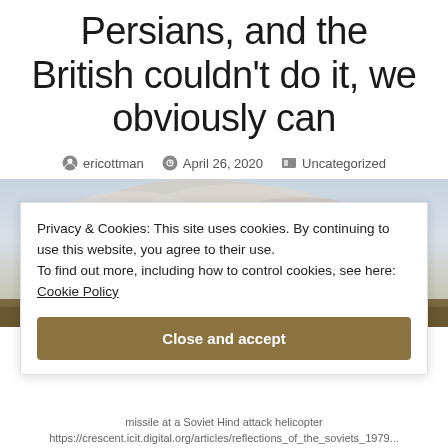Persians, and the British couldn't do it, we obviously can
ericottman  April 26, 2020  Uncategorized
[Figure (photo): War scene with smoke clouds, ground vehicles/wreckage, and a military helicopter in the upper right flying against a cloudy sky]
Privacy & Cookies: This site uses cookies. By continuing to use this website, you agree to their use. To find out more, including how to control cookies, see here: Cookie Policy
Close and accept
missile at a Soviet Hind attack helicopter https://crescent.icit.digital.org/articles/reflections_of_the_soviets_1979...